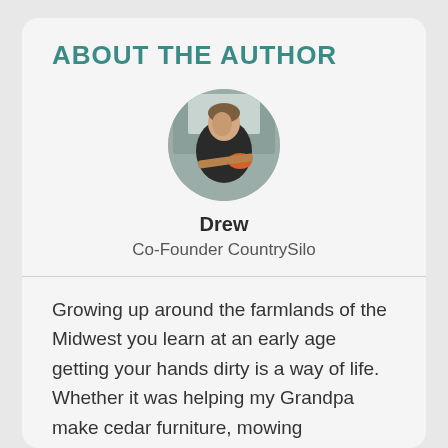ABOUT THE AUTHOR
[Figure (photo): Circular portrait photo of Drew, a man working with wood/tools in what appears to be a workshop setting]
Drew
Co-Founder CountrySilo
Growing up around the farmlands of the Midwest you learn at an early age getting your hands dirty is a way of life. Whether it was helping my Grandpa make cedar furniture, mowing neighborhood lawns or throwing bails